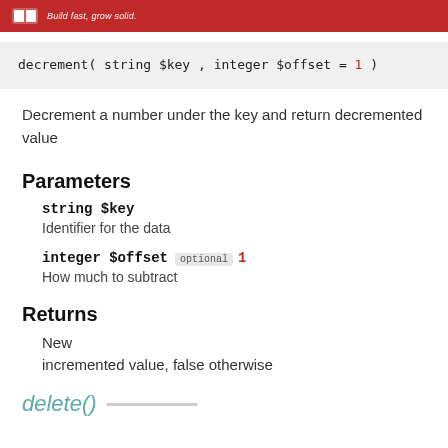CachePHP - Build fast, grow solid.
Decrement a number under the key and return decremented value
Parameters
string $key — Identifier for the data
integer $offset optional 1 — How much to subtract
Returns
New
incremented value, false otherwise
delete()